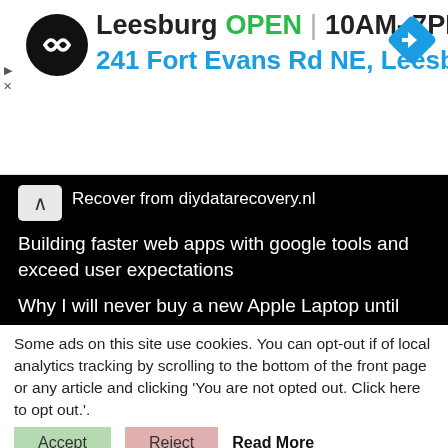[Figure (screenshot): Advertisement banner for Leesburg store showing logo, OPEN status, hours 10AM-7PM, and address 241 Fort Evans Rd NE, Leesb with a blue diamond navigation icon]
Recover from diydatarecovery.nl
Building faster web apps with google tools and exceed user expectations
Why I will never buy a new Apple Laptop until they fix the hardware cooling issues.
Telstra promised Fibre to the house (FTTP) when I had FTTN and this is what happened..
Some ads on this site use cookies. You can opt-out if of local analytics tracking by scrolling to the bottom of the front page or any article and clicking 'You are not opted out. Click here to opt out.'.